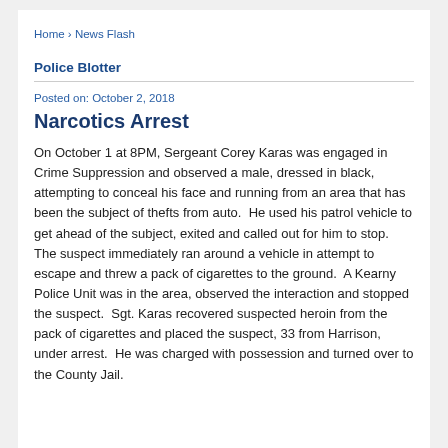Home › News Flash
Police Blotter
Posted on: October 2, 2018
Narcotics Arrest
On October 1 at 8PM, Sergeant Corey Karas was engaged in Crime Suppression and observed a male, dressed in black, attempting to conceal his face and running from an area that has been the subject of thefts from auto.  He used his patrol vehicle to get ahead of the subject, exited and called out for him to stop.  The suspect immediately ran around a vehicle in attempt to escape and threw a pack of cigarettes to the ground.  A Kearny Police Unit was in the area, observed the interaction and stopped the suspect.  Sgt. Karas recovered suspected heroin from the pack of cigarettes and placed the suspect, 33 from Harrison, under arrest.  He was charged with possession and turned over to the County Jail.